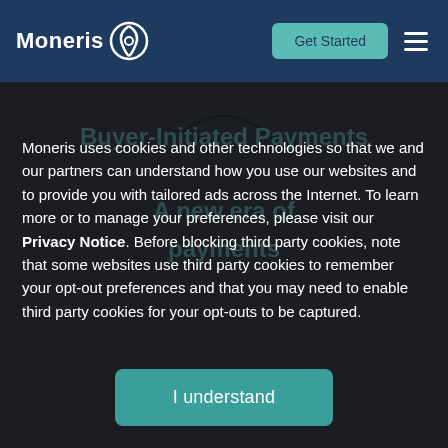Moneris | Get Started
Moneris uses cookies and other technologies so that we and our partners can understand how you use our websites and to provide you with tailored ads across the Internet. To learn more or to manage your preferences, please visit our Privacy Notice. Before blocking third party cookies, note that some websites use third party cookies to remember your opt-out preferences and that you may need to enable third party cookies for your opt-outs to be captured.
I understand